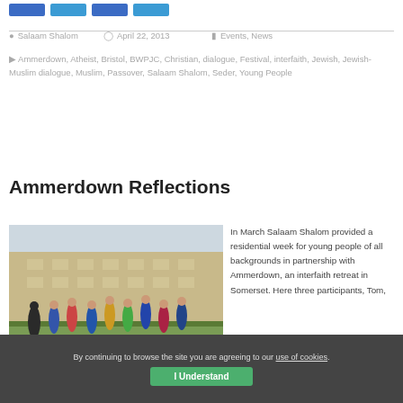Salaam Shalom   April 22, 2013   Events, News
Ammerdown, Atheist, Bristol, BWPJC, Christian, dialogue, Festival, interfaith, Jewish, Jewish-Muslim dialogue, Muslim, Passover, Salaam Shalom, Seder, Young People
Ammerdown Reflections
[Figure (photo): Group of young people jumping in front of a stone building on a green lawn.]
In March Salaam Shalom provided a residential week for young people of all backgrounds in partnership with Ammerdown, an interfaith retreat in Somerset. Here three participants, Tom,
By continuing to browse the site you are agreeing to our use of cookies.